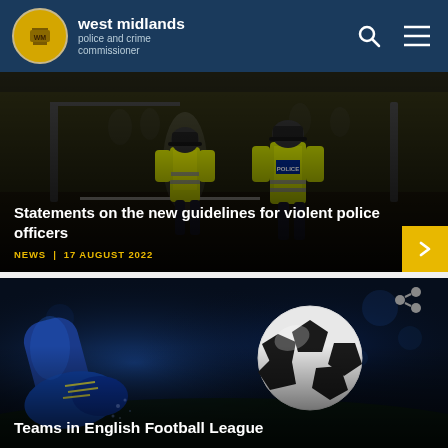west midlands police and crime commissioner
[Figure (photo): Two police officers in high-visibility yellow jackets walking away from camera along a corridor/street at night, other people visible in background]
Statements on the new guidelines for violent police officers
NEWS | 17 AUGUST 2022
[Figure (photo): Action football/soccer image showing a blue boot kicking a black and white football against a dark blue bokeh background]
Teams in English Football League